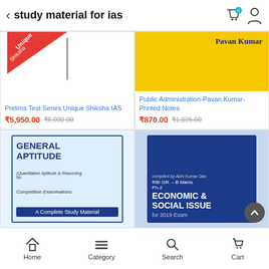study material for ias
[Figure (screenshot): Product listing screenshot of an e-commerce app showing study materials for IAS exam]
Prelims Test Series Unique Shiksha IAS
₹5,950.00 ₹6,000.00
Public Administration-Pavan Kumar-Printed Notes
₹870.00 ₹1,025.00
[Figure (photo): Book cover: General Aptitude (Quantitative Aptitude & Reasoning) for Competitive Examinations - A Complete Study Material]
[Figure (photo): Book cover: RBI GR.-B Mains Ph-2 Economic & Social Issue for 2019 Exam, compiled by Abhi Kumar Das]
Home  Category  Search  Cart